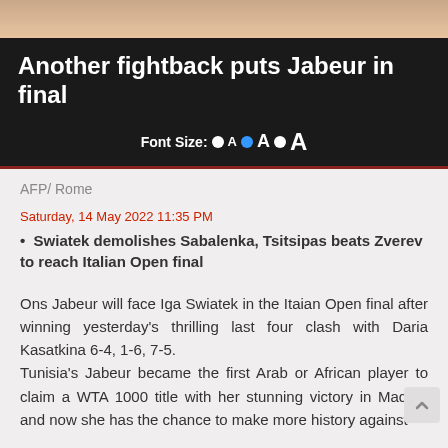[Figure (photo): Partial photo strip at top of page showing tennis player(s)]
Another fightback puts Jabeur in final
Font Size: • A • A • A
AFP/ Rome
Saturday, 14 May 2022 11:35 PM
Swiatek demolishes Sabalenka, Tsitsipas beats Zverev to reach Italian Open final
Ons Jabeur will face Iga Swiatek in the Itaian Open final after winning yesterday's thrilling last four clash with Daria Kasatkina 6-4, 1-6, 7-5.
Tunisia's Jabeur became the first Arab or African player to claim a WTA 1000 title with her stunning victory in Madrid, and now she has the chance to make more history against